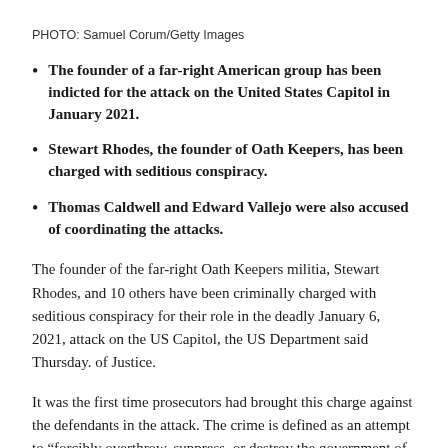PHOTO: Samuel Corum/Getty Images
The founder of a far-right American group has been indicted for the attack on the United States Capitol in January 2021.
Stewart Rhodes, the founder of Oath Keepers, has been charged with seditious conspiracy.
Thomas Caldwell and Edward Vallejo were also accused of coordinating the attacks.
The founder of the far-right Oath Keepers militia, Stewart Rhodes, and 10 others have been criminally charged with seditious conspiracy for their role in the deadly January 6, 2021, attack on the US Capitol, the US Department said Thursday. of Justice.
It was the first time prosecutors had brought this charge against the defendants in the attack. The crime is defined as an attempt to “forcibly overthrow, suppress, or destroy the government of the United States”.
Supporters of former President Donald Trump that day stormed the Capitol in an unsuccessful attempt to prevent Congress from certifying his electoral